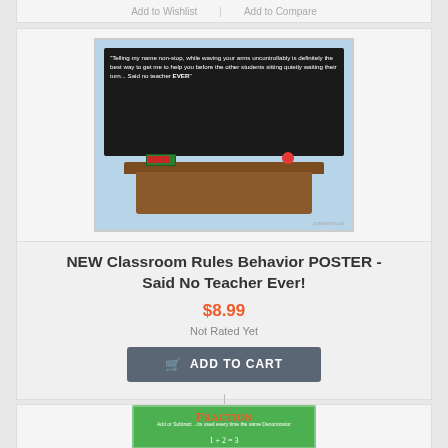[Figure (illustration): Product listing card showing a classroom poster illustration: a chalkboard on light blue background with humorous teacher quote, and a wooden teacher's desk with books and an apple]
NEW Classroom Rules Behavior POSTER - Said No Teacher Ever!
$8.99
Not Rated Yet
ADD TO CART
Add to Wishlist
Add to Compare
[Figure (illustration): Bottom of a product card showing a Fraction educational poster with green border, orange title text, and math fraction notation]